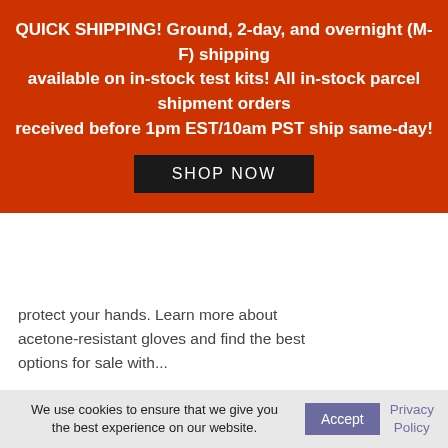QUICK SHIPPING! Ground, 2-day, and overnight (M-F) shipping available on in-stock test kits! All in-stock parcel shipment orders received before 1pm EST/10am PST ship same-day! SHOP NOW
protect your hands. Learn more about acetone-resistant gloves and find the best options for sale with...
Read More
[Figure (photo): A blue rubber/nitrile glove placed against an orange background square]
We use cookies to ensure that we give you the best experience on our website.